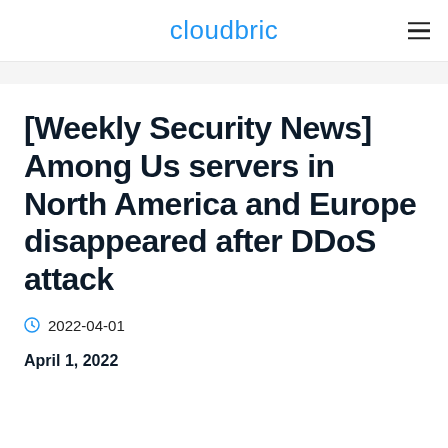cloudbric
[Weekly Security News] Among Us servers in North America and Europe disappeared after DDoS attack
2022-04-01
April 1, 2022